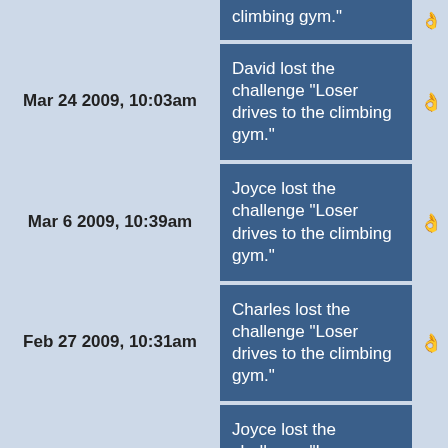| Date | Event | Icon |
| --- | --- | --- |
| (partial - top) | climbing gym." | hand |
| Mar 24 2009, 10:03am | David lost the challenge "Loser drives to the climbing gym." | hand |
| Mar 6 2009, 10:39am | Joyce lost the challenge "Loser drives to the climbing gym." | hand |
| Feb 27 2009, 10:31am | Charles lost the challenge "Loser drives to the climbing gym." | hand |
| Feb 24 2009, 10:21am | Joyce lost the challenge "Loser drives to the climbing gym." | hand |
| Feb 13 2009, 11:06am | Joyce lost the challenge "Loser drives everybody to (partial) | hand |